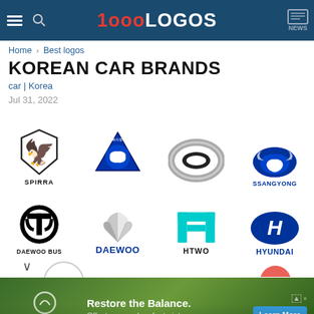1000LOGOS | NEWS
Home › Best logos
KOREAN CAR BRANDS
car | Korea
Jul 31, 2022
[Figure (logo): Grid of Korean car brand logos: Spirra, Pyeonghwa, Renault Samsung/Orion, SsangYong (row 1); Daewoo Bus, Daewoo, Htwo, Hyundai (row 2); partial row 3]
[Figure (infographic): Terrapass advertisement banner: Restore the Balance. Offset your carbon footprint. Learn More button.]